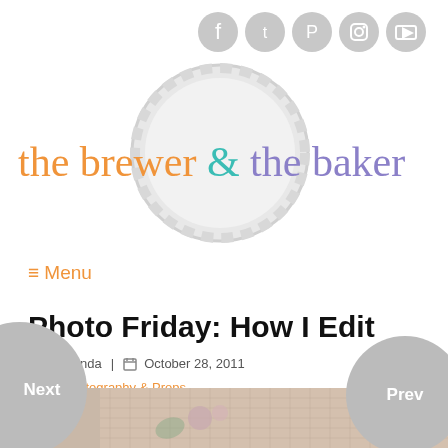[Figure (screenshot): Row of 5 gray circular social media icons: Facebook, Twitter, Pinterest, Instagram, RSS]
[Figure (logo): The Brewer & The Baker blog logo with bottle cap graphic and stylized text in orange, teal, and purple]
≡ Menu
Photo Friday: How I Edit
nextvnda  |  October 28, 2011
in Photography & Props
[Figure (photo): Bottom portion of a photo showing burlap fabric texture with flowers]